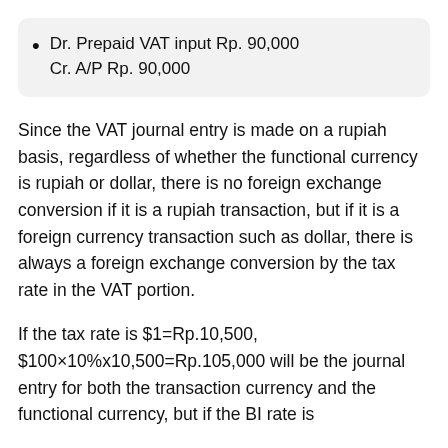Dr. Prepaid VAT input Rp. 90,000
Cr. A/P Rp. 90,000
Since the VAT journal entry is made on a rupiah basis, regardless of whether the functional currency is rupiah or dollar, there is no foreign exchange conversion if it is a rupiah transaction, but if it is a foreign currency transaction such as dollar, there is always a foreign exchange conversion by the tax rate in the VAT portion.
If the tax rate is $1=Rp.10,500, $100×10%x10,500=Rp.105,000 will be the journal entry for both the transaction currency and the functional currency, but if the BI rate is